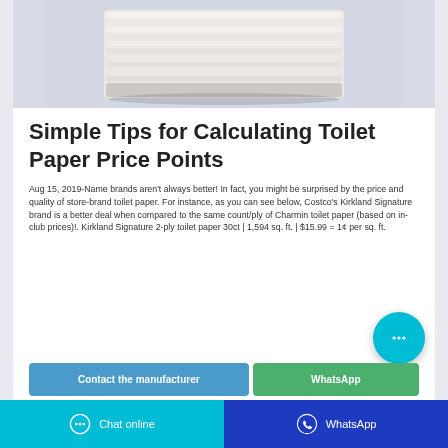[Figure (photo): Stack of white toilet paper rolls/sheets against a light gray background]
Simple Tips for Calculating Toilet Paper Price Points
Aug 15, 2019-Name brands aren't always better! In fact, you might be surprised by the price and quality of store-brand toilet paper. For instance, as you can see below, Costco's Kirkland Signature brand is a better deal when compared to the same count/ply of Charmin toilet paper (based on in-club prices)!. Kirkland Signature 2-ply toilet paper 30ct | 1,594 sq. ft. | $15.99 = 1¢ per sq. ft.